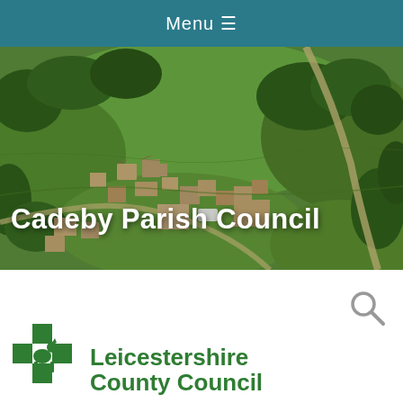Menu ≡
[Figure (photo): Aerial photograph of Cadeby village showing houses, fields, roads and trees from above]
Cadeby Parish Council
[Figure (logo): Search icon (magnifying glass)]
[Figure (logo): Leicestershire County Council logo with fox/deer animal figure and green cross symbol]